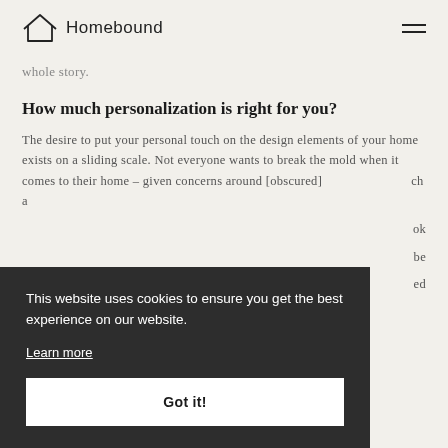Homebound
whole story.
How much personalization is right for you?
The desire to put your personal touch on the design elements of your home exists on a sliding scale. Not everyone wants to break the mold when it comes to their home – given concerns around [obscured] ch a
[obscured] ok [obscured] be [obscured] ed
degree. For each of these extremes – and the
This website uses cookies to ensure you get the best experience on our website.
Learn more
Got it!